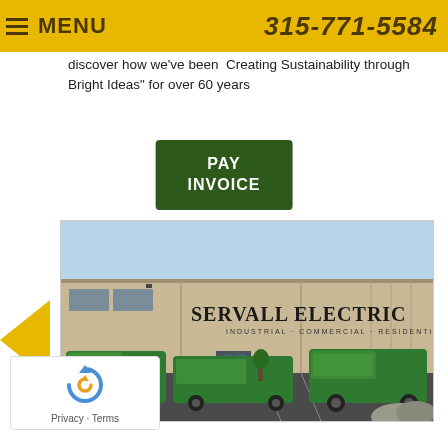MENU   315-771-5584
discover how we've been  Creating Sustainability through Bright Ideas" for over 60 years
PAY INVOICE
[Figure (photo): Exterior of Servall Electric building (Industrial · Commercial · Residential) with green branded service vehicles parked in front]
Privacy · Terms